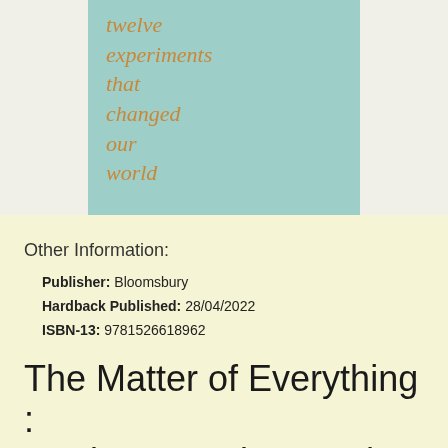[Figure (illustration): Book cover with teal/mint background showing italic text in golden/orange color reading 'twelve experiments that changed our world']
Other Information:
Publisher: Bloomsbury
Hardback Published: 28/04/2022
ISBN-13: 9781526618962
The Matter of Everything : Twelve Experiments that Changed Our World